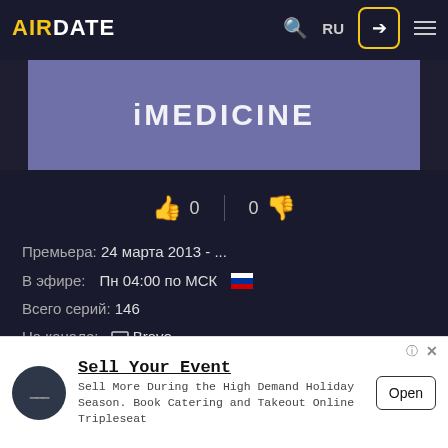AIRDATE  RU  [login]  [menu]
[Figure (illustration): iMEDICINE banner/logo on purple background with dark side panels]
👍 0  |  0 👎
Премьера:  24 марта 2013 - ...
В эфире:  Пн 04:00 по МСК 🇷🇺
Всего серий:  146
На канале:  📺 Bravo
Другие:  Американские Реалити
Жанр:  Медицина
[Figure (screenshot): Advertisement banner: Sell Your Event - Sell More During the High Demand Holiday Season. Book Catering and Takeout Online. Tripleseat. Open button.]